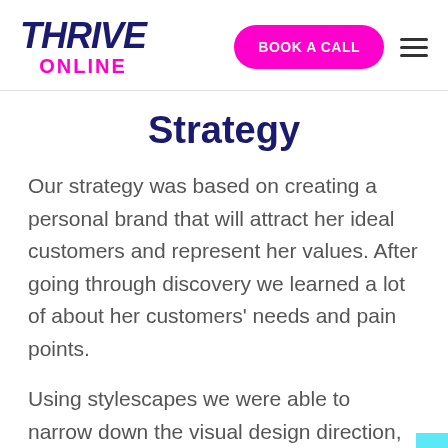THRIVE ONLINE | BOOK A CALL
Strategy
Our strategy was based on creating a personal brand that will attract her ideal customers and represent her values. After going through discovery we learned a lot of about her customers' needs and pain points.
Using stylescapes we were able to narrow down the visual design direction, focusing on creating a trustworthy, con